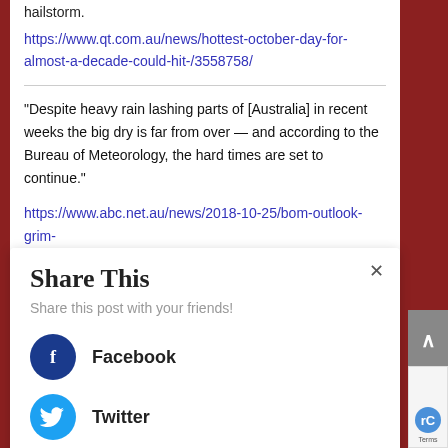hailstorm.
https://www.qt.com.au/news/hottest-october-day-for-almost-a-decade-could-hit-/3558758/
“Despite heavy rain lashing parts of [Australia] in recent weeks the big dry is far from over — and according to the Bureau of Meteorology, the hard times are set to continue.”
https://www.abc.net.au/news/2018-10-25/bom-outlook-grim-
[Figure (screenshot): Share This modal dialog with close button (x), subtitle 'Share this post with your friends!', Facebook button with dark blue circle icon and label 'Facebook', Twitter button with light blue circle icon and label 'Twitter']